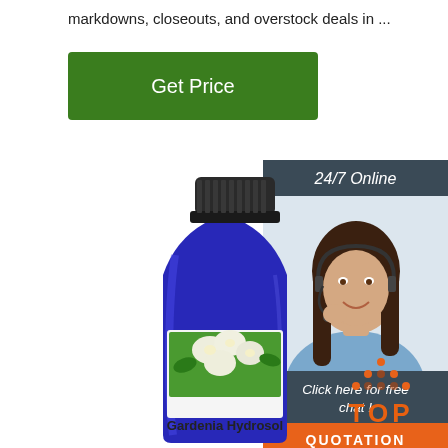markdowns, closeouts, and overstock deals in ...
[Figure (other): Green 'Get Price' button]
[Figure (other): 24/7 Online customer support panel with photo of woman wearing headset, 'Click here for free chat!' text, and orange QUOTATION button]
[Figure (photo): Blue glass bottle of Gardenia Hydrosol with label showing white gardenia flowers and text 'Gardenia Hydrosol']
[Figure (other): Orange and red TOP icon with dots arranged in triangle above the word TOP]